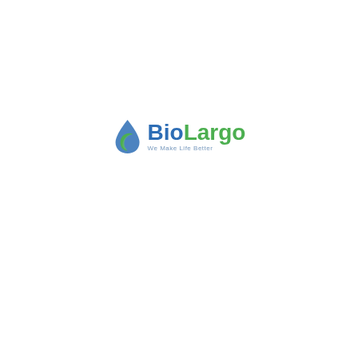[Figure (logo): BioLargo company logo with a blue water drop and green leaf icon, company name 'BioLargo' in blue and green bold text, tagline 'We Make Life Better' in light blue text below]